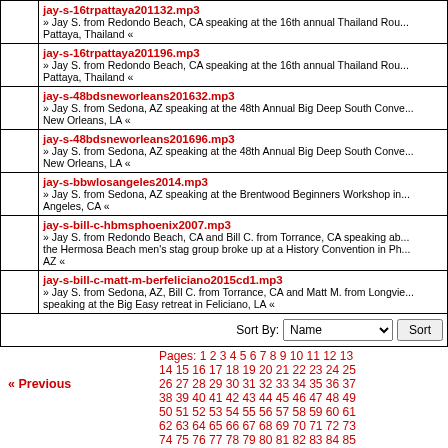| jay-s-16trpattaya201132.mp3 | » Jay S. from Redondo Beach, CA speaking at the 16th annual Thailand Rou... Pattaya, Thailand « |
| jay-s-16trpattaya201196.mp3 | » Jay S. from Redondo Beach, CA speaking at the 16th annual Thailand Rou... Pattaya, Thailand « |
| jay-s-48bdsneworleans201632.mp3 | » Jay S. from Sedona, AZ speaking at the 48th Annual Big Deep South Conve... New Orleans, LA « |
| jay-s-48bdsneworleans201696.mp3 | » Jay S. from Sedona, AZ speaking at the 48th Annual Big Deep South Conve... New Orleans, LA « |
| jay-s-bbwlosangeles2014.mp3 | » Jay S. from Sedona, AZ speaking at the Brentwood Beginners Workshop in... Angeles, CA « |
| jay-s-bill-c-hbmsphoenix2007.mp3 | » Jay S. from Redondo Beach, CA and Bill C. from Torrance, CA speaking ab... the Hermosa Beach men's stag group broke up at a History Convention in Ph... AZ « |
| jay-s-bill-c-matt-m-berfeliciano2015cd1.mp3 | » Jay S. from Sedona, AZ, Bill C. from Torrance, CA and Matt M. from Longvie... speaking at the Big Easy retreat in Feliciano, LA « |
Sort By: Name  Sort
Pages: 1 2 3 4 5 6 7 8 9 10 11 12 13 14 15 16 17 18 19 20 21 22 23 24 25 26 27 28 29 30 31 32 33 34 35 36 37 38 39 40 41 42 43 44 45 46 47 48 49 50 51 52 53 54 55 56 57 58 59 60 61 62 63 64 65 66 67 68 69 70 71 72 73 74 75 76 77 78 79 80 81 82 83 84 85 86 87 88 89 90 91 92 93 94 95 96 97 98 99 100 101 102 103 104 105 106 107 108 109 110
« Previous